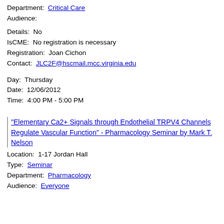Department: Critical Care
Audience:
Details: No
IsCME: No registration is necessary
Registration: Joan Cichon
Contact: JLC2F@hscmail.mcc.virginia.edu
Day: Thursday
Date: 12/06/2012
Time: 4:00 PM - 5:00 PM
"Elementary Ca2+ Signals through Endothelial TRPV4 Channels Regulate Vascular Function" - Pharmacology Seminar by Mark T. Nelson
Location: 1-17 Jordan Hall
Type: Seminar
Department: Pharmacology
Audience: Everyone